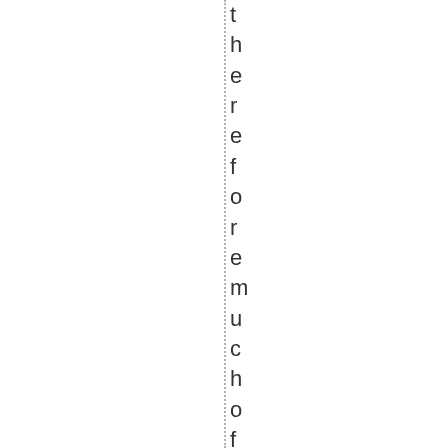therefore much of the above debate f